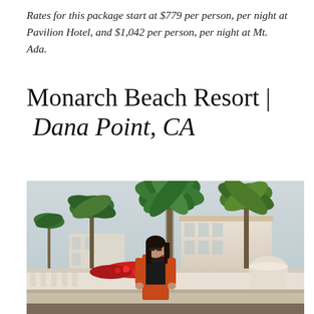Rates for this package start at $779 per person, per night at Pavilion Hotel, and $1,042 per person, per night at Mt. Ada.
Monarch Beach Resort | Dana Point, CA
[Figure (photo): Woman in orange cardigan and black top standing in front of Monarch Beach Resort with palm trees, red flowers, white stone urns, and the hotel building in the background under a gray sky.]